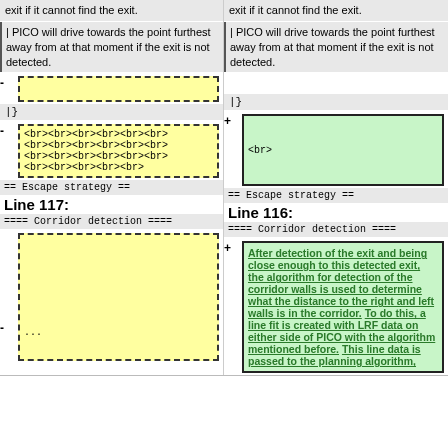exit if it cannot find the exit.
| PICO will drive towards the point furthest away from at that moment if the exit is not detected.
[Figure (other): Empty yellow dashed box (removed diff line)]
|}
<br><br><br><br><br><br><br><br><br><br><br><br><br><br><br><br><br><br><br><br><br><br><br><br><br> (yellow dashed removed block)
== Escape strategy ==
Line 117:
==== Corridor detection ====
[Figure (other): Large empty yellow dashed box with '...' (removed diff block)]
exit if it cannot find the exit.
| PICO will drive towards the point furthest away from at that moment if the exit is not detected.
|}
<br> (green added box)
== Escape strategy ==
Line 116:
==== Corridor detection ====
After detection of the exit and being close enough to this detected exit, the algorithm for detection of the corridor walls is used to determine what the distance to the right and left walls is in the corridor. To do this, a line fit is created with LRF data on either side of PICO with the algorithm mentioned before. This line data is passed to the planning algorithm,